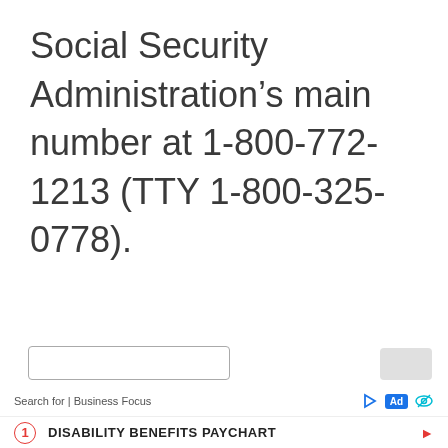Social Security Administration’s main number at 1-800-772-1213 (TTY 1-800-325-0778).
Search for | Business Focus  Ad  [icon]  1  DISABILITY BENEFITS PAYCHART  ►